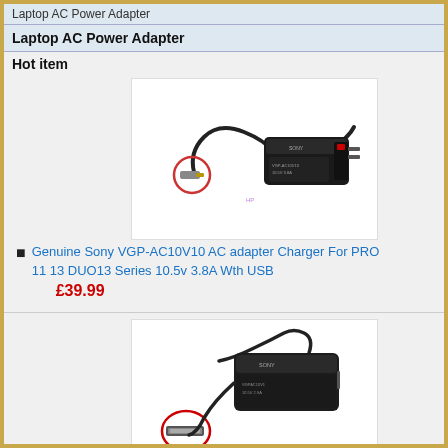Laptop AC Power Adapter
Laptop AC Power Adapter
Hot item
[Figure (photo): Sony VGP-AC10V10 AC adapter charger with cable and highlighted connector tip in a circle]
Genuine Sony VGP-AC10V10 AC adapter Charger For PRO 11 13 DUO13 Series 10.5v 3.8A Wth USB
£39.99
[Figure (photo): Sony SGPAC10V1 SGPAC10V2 AC adapter charger for tablet with cable and highlighted connector in a red circle]
Genuine Sony SGPAC10V1 SGPAC10V2 AC Adapter Charger For Tablet SGPT111 SGPT112 SGPT113 10.5V 2.9A